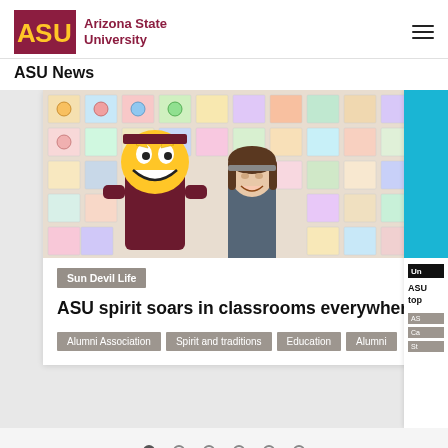[Figure (logo): Arizona State University logo with pitchfork ASU letters in maroon and 'Arizona State University' text in maroon]
ASU News
[Figure (photo): ASU Sparky mascot in maroon jacket posing with a smiling woman in front of a wall of colorful student drawings/portraits]
Sun Devil Life
ASU spirit soars in classrooms everywhere
Alumni Association
Spirit and traditions
Education
Alumni
[Figure (screenshot): Partially visible second carousel card showing blue image and black badge reading 'Un...' with partial title 'ASU... top...' and partial tags]
Carousel navigation dots: 1 filled, 5 empty